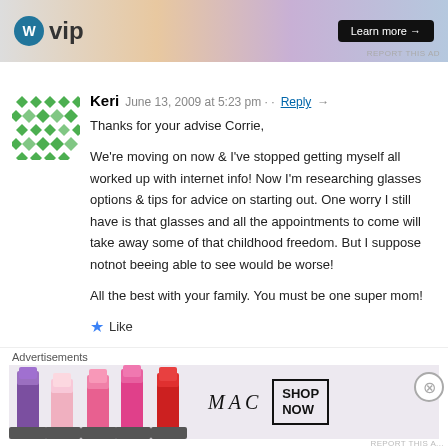[Figure (other): Top advertisement banner for WordPress VIP with 'Learn more' button]
REPORT THIS AD
Keri   June 13, 2009 at 5:23 pm · · Reply →
Thanks for your advise Corrie,

We're moving on now & I've stopped getting myself all worked up with internet info! Now I'm researching glasses options & tips for advice on starting out. One worry I still have is that glasses and all the appointments to come will take away some of that childhood freedom. But I suppose notnot beeing able to see would be worse!

All the best with your family. You must be one super mom!
★ Like
Corrie   June 13, 2009 at 5:36 pm · · Reply →
Advertisements
[Figure (other): MAC cosmetics advertisement showing lipsticks with SHOP NOW button]